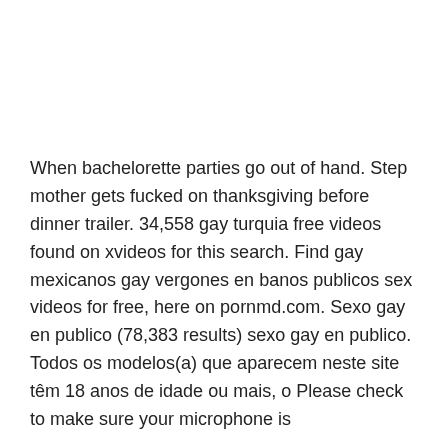When bachelorette parties go out of hand. Step mother gets fucked on thanksgiving before dinner trailer. 34,558 gay turquia free videos found on xvideos for this search. Find gay mexicanos gay vergones en banos publicos sex videos for free, here on pornmd.com. Sexo gay en publico (78,383 results) sexo gay en publico. Todos os modelos(a) que aparecem neste site têm 18 anos de idade ou mais, o Please check to make sure your microphone is